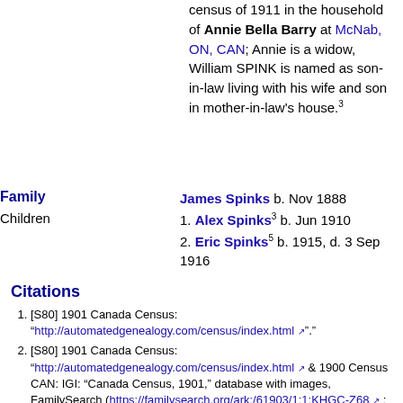census of 1911 in the household of Annie Bella Barry at McNab, ON, CAN; Annie is a widow, William SPINK is named as son-in-law living with his wife and son in mother-in-law's house.[3]
Family: James Spinks b. Nov 1888
Children
1. Alex Spinks[3] b. Jun 1910
2. Eric Spinks[5] b. 1915, d. 3 Sep 1916
Citations
[S80] 1901 Canada Census: "http://automatedgenealogy.com/census/index.html".
[S80] 1901 Canada Census: "http://automatedgenealogy.com/census/index.html" & 1900 Census CAN: IGI: "Canada Census, 1901," database with images, FamilySearch (https://familysearch.org/ark:/61903/1:1:KHGC-Z68 : 27 April 2017), Robert Bandy, Renfrew (south/sud), Ontario, Canada; citing p. 4, Library and Archives of Canada, Ottawa."